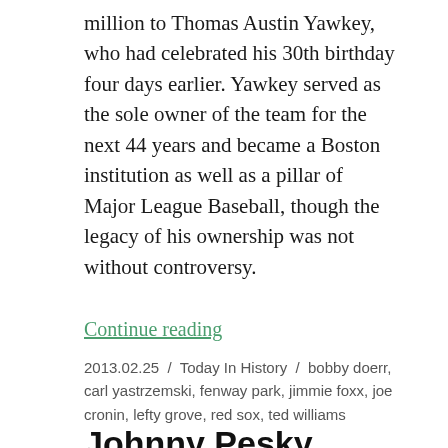million to Thomas Austin Yawkey, who had celebrated his 30th birthday four days earlier. Yawkey served as the sole owner of the team for the next 44 years and became a Boston institution as well as a pillar of Major League Baseball, though the legacy of his ownership was not without controversy.
Continue reading
2013.02.25 / Today In History / bobby doerr, carl yastrzemski, fenway park, jimmie foxx, joe cronin, lefty grove, red sox, ted williams
Johnny Pesky, Former Red Sox Infielder, Passes